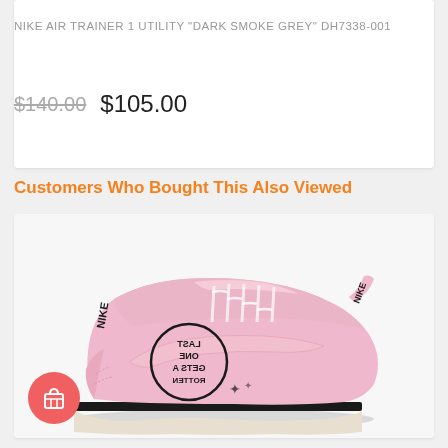NIKE AIR TRAINER 1 UTILITY "DARK SMOKE GREY" DH7338-001
$140.00  $105.00
Customers Who Bought This Also Viewed
[Figure (photo): Pink Nike Cortez sneaker with black artwork reading 'LAST ONE GETS A ROTTEN...' on the side, shown from a lateral profile view against a light grey background]